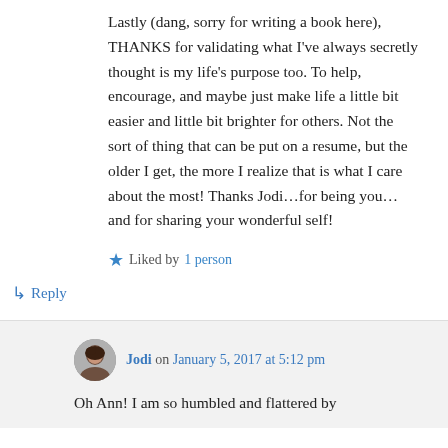Lastly (dang, sorry for writing a book here), THANKS for validating what I've always secretly thought is my life's purpose too. To help, encourage, and maybe just make life a little bit easier and little bit brighter for others. Not the sort of thing that can be put on a resume, but the older I get, the more I realize that is what I care about the most! Thanks Jodi…for being you… and for sharing your wonderful self!
★ Liked by 1 person
↳ Reply
Jodi on January 5, 2017 at 5:12 pm
Oh Ann! I am so humbled and flattered by